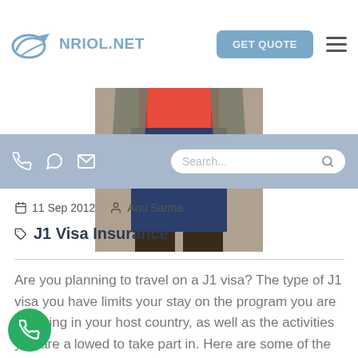NRIOL.NET — GET QUOTE
[Figure (photo): Partial view of a person wearing a grey jacket over a pink/red shirt and dark blue shorts, cropped from waist down]
11 Sep 2012   Anu Sarma
J1 Visa Insurance
Are you planning to travel on a J1 visa? The type of J1 visa you have limits your stay on the program you are following in your host country, as well as the activities you are allowed to take part in. Here are some of the visa categories in the Private Sector program